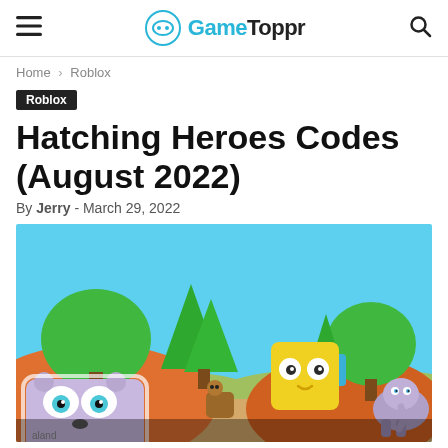GameToppr
Home › Roblox
Roblox
Hatching Heroes Codes (August 2022)
By Jerry - March 29, 2022
[Figure (screenshot): Colorful 3D Roblox game screenshot showing cartoon cube animals including a purple panda, yellow cat, and elephant in a vibrant landscape with green trees and orange hills.]